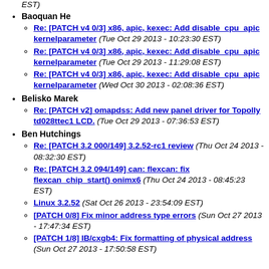EST)
Baoquan He
Re: [PATCH v4 0/3] x86, apic, kexec: Add disable_cpu_apic kernelparameter (Tue Oct 29 2013 - 10:23:30 EST)
Re: [PATCH v4 0/3] x86, apic, kexec: Add disable_cpu_apic kernelparameter (Tue Oct 29 2013 - 11:29:08 EST)
Re: [PATCH v4 0/3] x86, apic, kexec: Add disable_cpu_apic kernelparameter (Wed Oct 30 2013 - 02:08:36 EST)
Belisko Marek
Re: [PATCH v2] omapdss: Add new panel driver for Topolly td028ttec1 LCD. (Tue Oct 29 2013 - 07:36:53 EST)
Ben Hutchings
Re: [PATCH 3.2 000/149] 3.2.52-rc1 review (Thu Oct 24 2013 - 08:32:30 EST)
Re: [PATCH 3.2 094/149] can: flexcan: fix flexcan_chip_start() onimx6 (Thu Oct 24 2013 - 08:45:23 EST)
Linux 3.2.52 (Sat Oct 26 2013 - 23:54:09 EST)
[PATCH 0/8] Fix minor address type errors (Sun Oct 27 2013 - 17:47:34 EST)
[PATCH 1/8] IB/cxgb4: Fix formatting of physical address (Sun Oct 27 2013 - 17:50:58 EST)